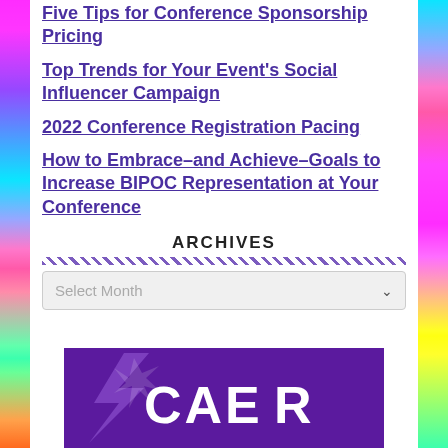Five Tips for Conference Sponsorship Pricing
Top Trends for Your Event's Social Influencer Campaign
2022 Conference Registration Pacing
How to Embrace–and Achieve–Goals to Increase BIPOC Representation at Your Conference
ARCHIVES
Select Month
[Figure (illustration): Partial purple promotional image with white text at the bottom of the page]